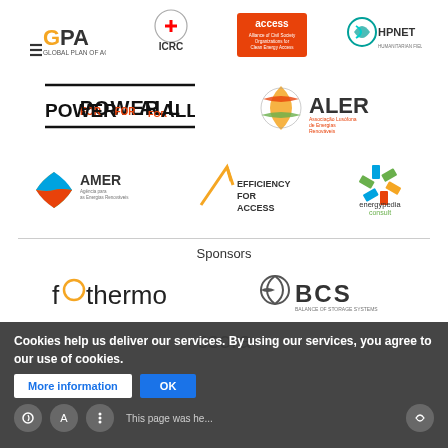[Figure (logo): GPA Global Plan of Action logo, ICRC logo, ACCESS Alliance of Civil Society Organizations for Clean Energy Access logo, HPNET logo]
[Figure (logo): POWER FOR ALL logo, ALER Associação Lusófona de Energias Renováveis logo]
[Figure (logo): AMER logo, EFFICIENCY FOR ACCESS logo, energypedia consult logo]
Sponsors
[Figure (logo): fOthermo logo, BCS Balance of Storage Systems logo]
[Figure (logo): Partial logo visible at bottom (appears to be another sponsor)]
Cookies help us deliver our services. By using our services, you agree to our use of cookies.